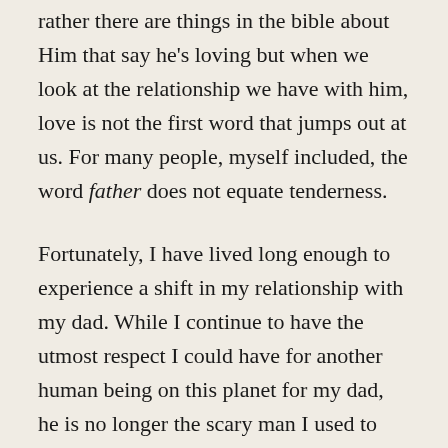rather there are things in the bible about Him that say he's loving but when we look at the relationship we have with him, love is not the first word that jumps out at us. For many people, myself included, the word father does not equate tenderness.
Fortunately, I have lived long enough to experience a shift in my relationship with my dad. While I continue to have the utmost respect I could have for another human being on this planet for my dad, he is no longer the scary man I used to know. His presence does not evoke fear in me. In fact, I would not mind blowing everyone off just to hang out with my dad. As I have gotten older, I have found he is so cool. He's full of wisdom and experience and is